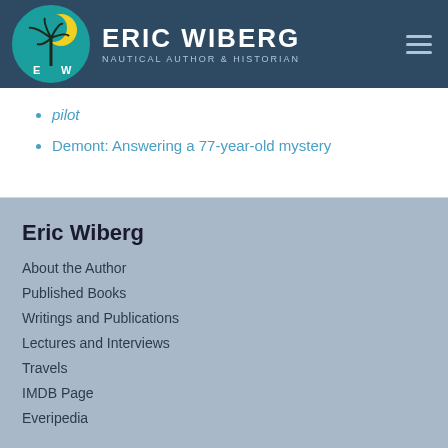[Figure (logo): Eric Wiberg logo — circular badge with palm tree silhouette on teal/yellow background with letters E and W, next to text 'ERIC WIBERG / NAUTICAL AUTHOR & HISTORIAN' on dark navy header bar]
pilot
Demont: Answering a 77-year-old mystery
Eric Wiberg
About the Author
Published Books
Writings and Publications
Lectures and Interviews
Travels
IMDB Page
Everipedia